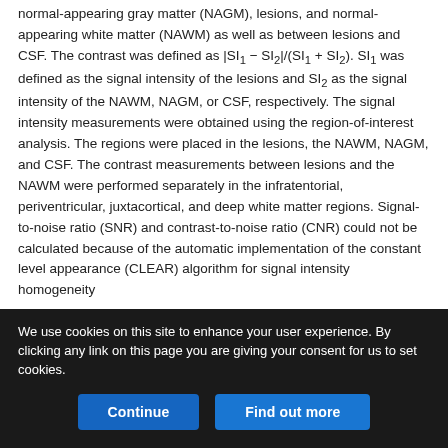normal-appearing gray matter (NAGM), lesions, and normal-appearing white matter (NAWM) as well as between lesions and CSF. The contrast was defined as |SI1 − SI2|/(SI1 + SI2). SI1 was defined as the signal intensity of the lesions and SI2 as the signal intensity of the NAWM, NAGM, or CSF, respectively. The signal intensity measurements were obtained using the region-of-interest analysis. The regions were placed in the lesions, the NAWM, NAGM, and CSF. The contrast measurements between lesions and the NAWM were performed separately in the infratentorial, periventricular, juxtacortical, and deep white matter regions. Signal-to-noise ratio (SNR) and contrast-to-noise ratio (CNR) could not be calculated because of the automatic implementation of the constant level appearance (CLEAR) algorithm for signal intensity homogeneity
We use cookies on this site to enhance your user experience. By clicking any link on this page you are giving your consent for us to set cookies.